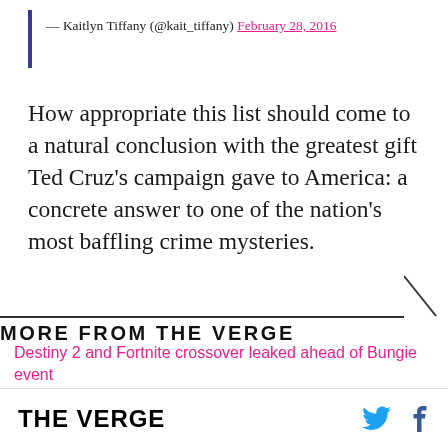— Kaitlyn Tiffany (@kait_tiffany) February 28, 2016
How appropriate this list should come to a natural conclusion with the greatest gift Ted Cruz's campaign gave to America: a concrete answer to one of the nation's most baffling crime mysteries.
MORE FROM THE VERGE
Destiny 2 and Fortnite crossover leaked ahead of Bungie event
FTX's money isn't insured, FDIC says
THE VERGE